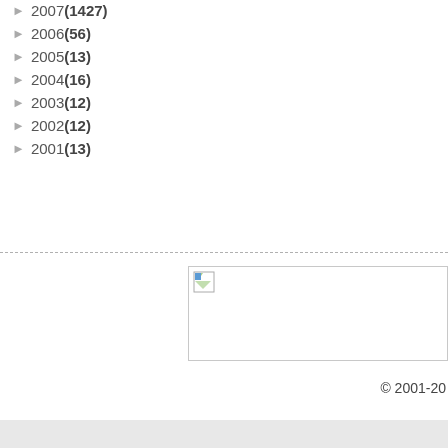► 2007 (1427)
► 2006 (56)
► 2005 (13)
► 2004 (16)
► 2003 (12)
► 2002 (12)
► 2001 (13)
[Figure (other): Broken image placeholder with small icon in upper left corner]
© 2001-20